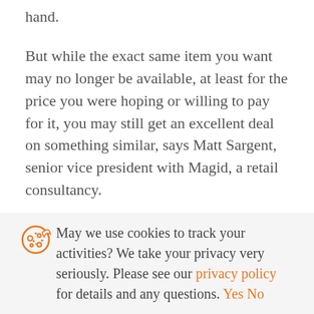hand.
But while the exact same item you want may no longer be available, at least for the price you were hoping or willing to pay for it, you may still get an excellent deal on something similar, says Matt Sargent, senior vice president with Magid, a retail consultancy.
“Over the last few years, and particularly this year, we have seen the overall cadence of deals stretching out or flattening out before the traditional start of the holiday season,” says Laura Kennedy, director of retail
May we use cookies to track your activities? We take your privacy very seriously. Please see our privacy policy for details and any questions. Yes No